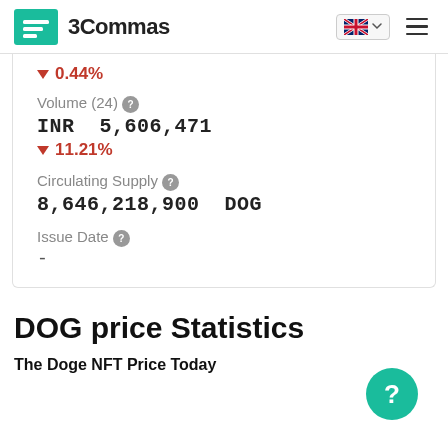3Commas
▼ 0.44%
Volume (24)
INR 5,606,471
▼ 11.21%
Circulating Supply
8,646,218,900 DOG
Issue Date
-
DOG price Statistics
The Doge NFT Price Today